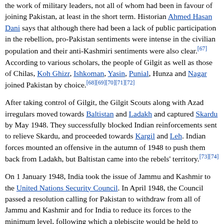the work of military leaders, not all of whom had been in favour of joining Pakistan, at least in the short term. Historian Ahmed Hasan Dani says that although there had been a lack of public participation in the rebellion, pro-Pakistan sentiments were intense in the civilian population and their anti-Kashmiri sentiments were also clear.[67] According to various scholars, the people of Gilgit as well as those of Chilas, Koh Ghizr, Ishkoman, Yasin, Punial, Hunza and Nagar joined Pakistan by choice.[68][69][70][71][72]
After taking control of Gilgit, the Gilgit Scouts along with Azad irregulars moved towards Baltistan and Ladakh and captured Skardu by May 1948. They successfully blocked Indian reinforcements sent to relieve Skardu, and proceeded towards Kargil and Leh. Indian forces mounted an offensive in the autumn of 1948 to push them back from Ladakh, but Baltistan came into the rebels' territory.[73][74]
On 1 January 1948, India took the issue of Jammu and Kashmir to the United Nations Security Council. In April 1948, the Council passed a resolution calling for Pakistan to withdraw from all of Jammu and Kashmir and for India to reduce its forces to the minimum level, following which a plebiscite would be held to ascertain the people's wishes.[75] However, no withdrawal was ever carried out. India insisted that Pakistan had to withdraw first and Pakistan contended there was no guarantee that India would